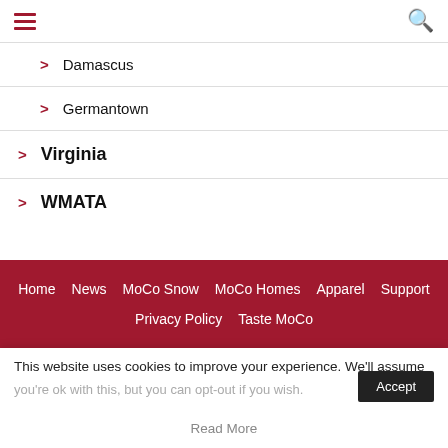Hamburger menu | Search
> Damascus
> Germantown
> Virginia
> WMATA
Home  News  MoCo Snow  MoCo Homes  Apparel  Support  Privacy Policy  Taste MoCo
This website uses cookies to improve your experience. We'll assume you're ok with this, but you can opt-out if you wish.
Read More